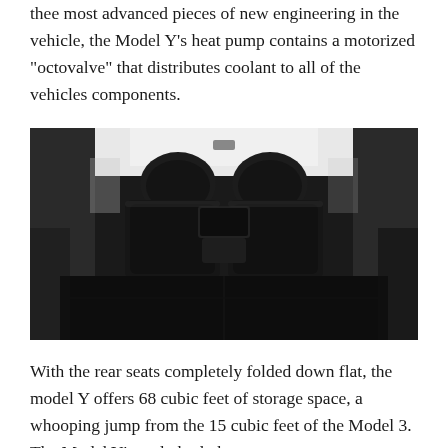thee most advanced pieces of new engineering in the vehicle, the Model Y's heat pump contains a motorized "octovalve" that distributes coolant to all of the vehicles components.
[Figure (photo): Black and white photograph of Tesla Model Y interior viewed from rear, showing folded rear seats flat, front seats visible, center touchscreen display, and open hatchback.]
With the rear seats completely folded down flat, the model Y offers 68 cubic feet of storage space, a whooping jump from the 15 cubic feet of the Model 3. The Model Y's underbody has a